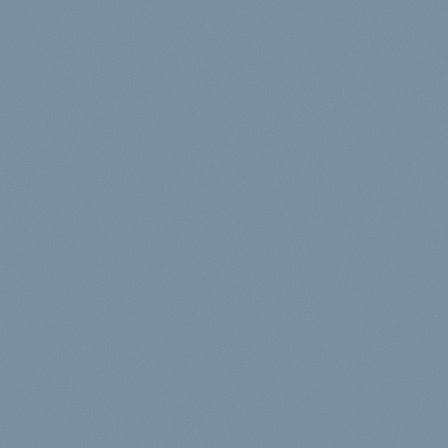[Figure (other): Solid blue-grey background fill covering the entire page, approximately #7a8fa0 with subtle texture variation.]